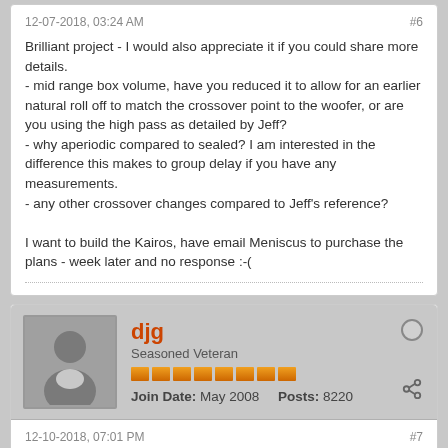12-07-2018, 03:24 AM    #6
Brilliant project - I would also appreciate it if you could share more details.
- mid range box volume, have you reduced it to allow for an earlier natural roll off to match the crossover point to the woofer, or are you using the high pass as detailed by Jeff?
- why aperiodic compared to sealed? I am interested in the difference this makes to group delay if you have any measurements.
- any other crossover changes compared to Jeff's reference?

I want to build the Kairos, have email Meniscus to purchase the plans - week later and no response :-(
djg
Seasoned Veteran
Join Date: May 2008    Posts: 8220
12-10-2018, 07:01 PM    #7
Call them?